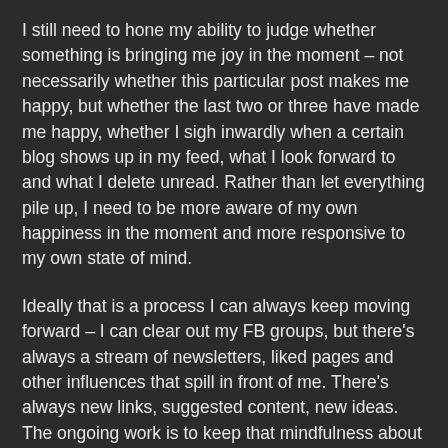I still need to hone my ability to judge whether something is bringing me joy in the moment – not necessarily whether this particular post makes me happy, but whether the last two or three have made me happy, whether I sigh inwardly when a certain blog shows up in my feed, what I look forward to and what I delete unread. Rather than let everything pile up, I need to be more aware of my own happiness in the moment and more responsive to my own state of mind.
Ideally that is a process I can always keep moving forward – I can clear out my FB groups, but there's always a stream of newsletters, liked pages and other influences that spill in front of me. There's always new links, suggested content, new ideas. The ongoing work is to keep that mindfulness about what brings me joy and what I need to get out of my life, one status update at a time.